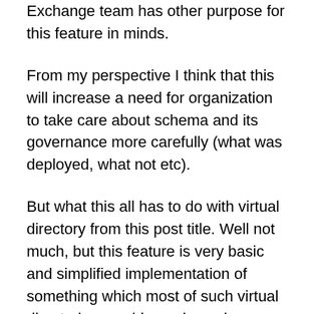Exchange team has other purpose for this feature in minds.
From my perspective I think that this will increase a need for organization to take care about schema and its governance more carefully (what was deployed, what not etc).
But what this all has to do with virtual directory from this post title. Well not much, but this feature is very basic and simplified implementation of something which most of such virtual directories provides – dynamic schema extension. Of course virtual directories are not limited only to validation of schema upon reads and writes but this is something similar. I doubt that Exchange is about implementing such full blown solution but it sure looks like it...